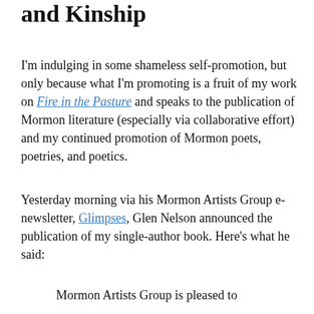and Kinship
I'm indulging in some shameless self-promotion, but only because what I'm promoting is a fruit of my work on Fire in the Pasture and speaks to the publication of Mormon literature (especially via collaborative effort) and my continued promotion of Mormon poets, poetries, and poetics.
Yesterday morning via his Mormon Artists Group e-newsletter, Glimpses, Glen Nelson announced the publication of my single-author book. Here's what he said:
Mormon Artists Group is pleased to